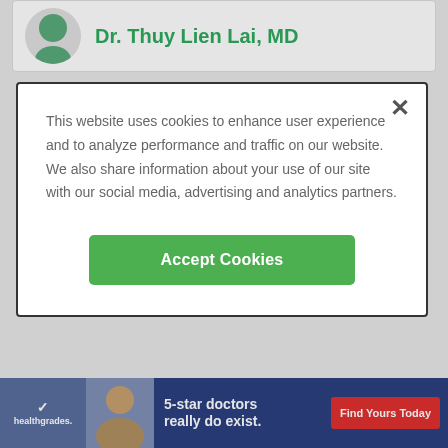Dr. Thuy Lien Lai, MD
This website uses cookies to enhance user experience and to analyze performance and traffic on our website. We also share information about your use of our site with our social media, advertising and analytics partners.
Accept Cookies
Dr. Viney Soni, MD
Age 75 | Pulmonary Disease
23 reviews
ADVERTISEMENT
5-star doctors really do exist.
Find Yours Today
healthgrades.